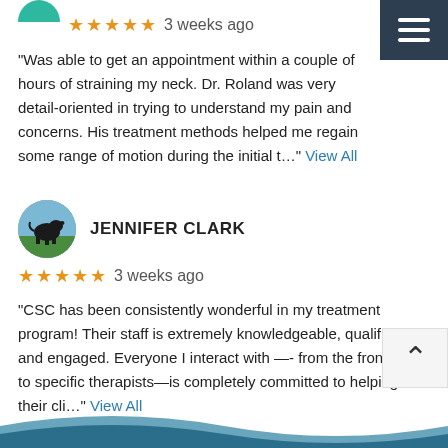★★★★★  3 weeks ago
"Was able to get an appointment within a couple of hours of straining my neck. Dr. Roland was very detail-oriented in trying to understand my pain and concerns. His treatment methods helped me regain some range of motion during the initial t…" View All
JENNIFER CLARK
★★★★★  3 weeks ago
"CSC has been consistently wonderful in my treatment program! Their staff is extremely knowledgeable, qualified , and engaged. Everyone I interact with —- from the front desk to specific therapists—is completely committed to helping their cli…" View All
[Figure (illustration): Blue wave decoration at the bottom of the page]